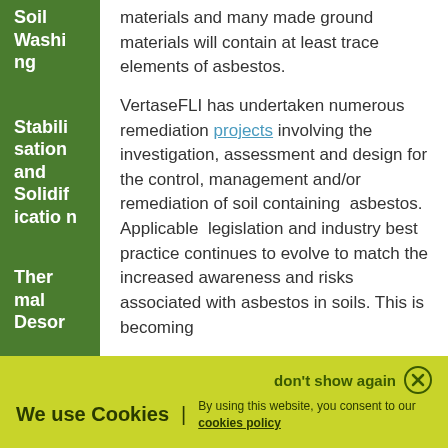Soil Washing
Stabilisation and Solidification
Thermal Desor
materials and many made ground materials will contain at least trace elements of asbestos.
VertaseFLI has undertaken numerous remediation projects involving the investigation, assessment and design for the control, management and/or remediation of soil containing asbestos. Applicable legislation and industry best practice continues to evolve to match the increased awareness and risks associated with asbestos in soils. This is becoming
don't show again
We use Cookies | By using this website, you consent to our cookies policy